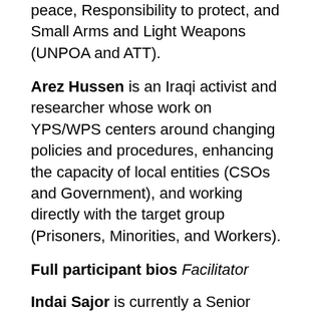peace, Responsibility to protect, and Small Arms and Light Weapons (UNPOA and ATT).
Arez Hussen is an Iraqi activist and researcher whose work on YPS/WPS centers around changing policies and procedures, enhancing the capacity of local entities (CSOs and Government), and working directly with the target group (Prisoners, Minorities, and Workers).
Full participant bios
Facilitator
Indai Sajor is currently a Senior IASC Gender Humanitarian Advisor. She has over twenty-